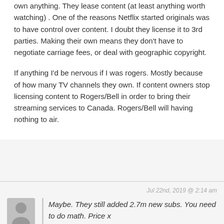own anything. They lease content (at least anything worth watching) . One of the reasons Netflix started originals was to have control over content. I doubt they license it to 3rd parties. Making their own means they don't have to negotiate carriage fees, or deal with geographic copyright.

If anything I'd be nervous if I was rogers. Mostly because of how many TV channels they own. If content owners stop licensing content to Rogers/Bell in order to bring their streaming services to Canada. Rogers/Bell will having nothing to air.
Jul 22nd, 2019 @ 2:14 am
Maybe. They still added 2.7m new subs. You need to do math. Price x